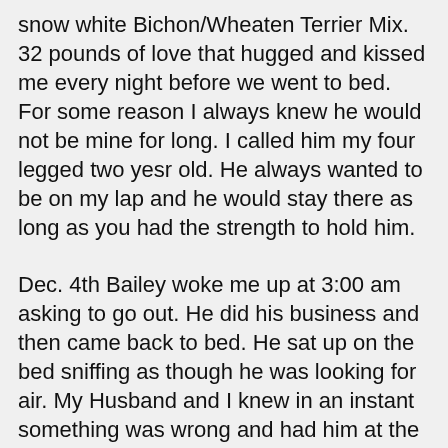snow white Bichon/Wheaten Terrier Mix. 32 pounds of love that hugged and kissed me every night before we went to bed. For some reason I always knew he would not be mine for long. I called him my four legged two yesr old. He always wanted to be on my lap and he would stay there as long as you had the strength to hold him.
Dec. 4th Bailey woke me up at 3:00 am asking to go out. He did his business and then came back to bed. He sat up on the bed sniffing as though he was looking for air. My Husband and I knew in an instant something was wrong and had him at the animal hospital in 15 minutes. They wanted to keep him overnight of